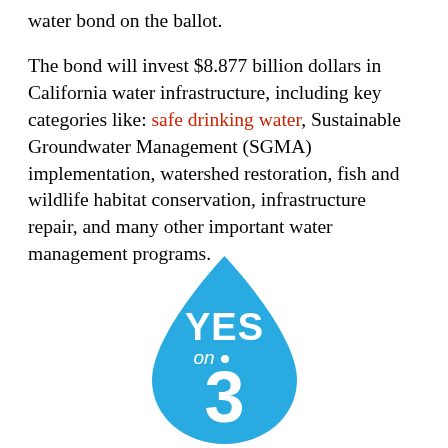water bond on the ballot.
The bond will invest $8.877 billion dollars in California water infrastructure, including key categories like: safe drinking water, Sustainable Groundwater Management (SGMA) implementation, watershed restoration, fish and wildlife habitat conservation, infrastructure repair, and many other important water management programs.
[Figure (logo): A water droplet shaped logo in sky blue containing the text 'YES on 3' in white, with 'YES' at the top and a large '3' at the bottom.]